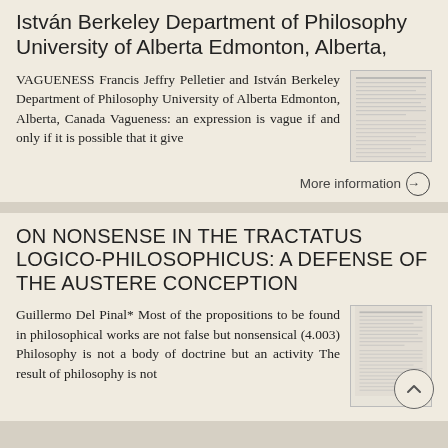István Berkeley Department of Philosophy University of Alberta Edmonton, Alberta,
VAGUENESS Francis Jeffry Pelletier and István Berkeley Department of Philosophy University of Alberta Edmonton, Alberta, Canada Vagueness: an expression is vague if and only if it is possible that it give
[Figure (screenshot): Thumbnail of a document page with dense text, resembling an academic paper]
More information →
ON NONSENSE IN THE TRACTATUS LOGICO-PHILOSOPHICUS: A DEFENSE OF THE AUSTERE CONCEPTION
Guillermo Del Pinal* Most of the propositions to be found in philosophical works are not false but nonsensical (4.003) Philosophy is not a body of doctrine but an activity The result of philosophy is not
[Figure (screenshot): Thumbnail of a document page with dense text, resembling an academic paper]